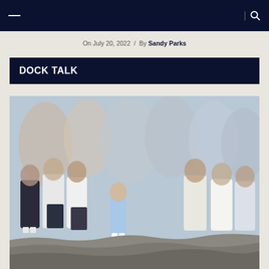On July 20, 2022 / By Sandy Parks
DOCK TALK
[Figure (photo): A crowd of people, many wearing white t-shirts, standing on a rocky dock or seawall. A young child in light blue shorts stands in the foreground. The image is slightly blurred/bokeh effect on the crowd in the background.]